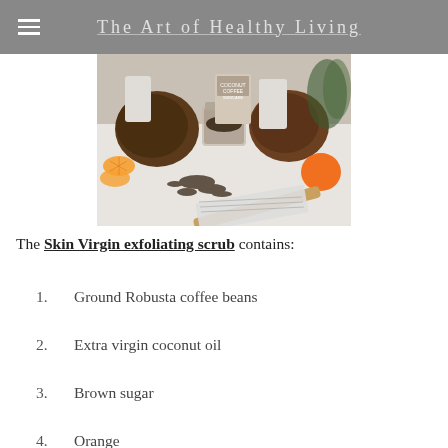The Art of Healthy Living
[Figure (photo): Flat lay photo of coconuts, orange slices, a glass jar of ground coffee, a packet labeled 'Coconut Coffee Skincare', coffee grounds scattered on a white surface, and a wooden spatula with a pamphlet.]
The Skin Virgin exfoliating scrub contains:
Ground Robusta coffee beans
Extra virgin coconut oil
Brown sugar
Orange something (partially visible)